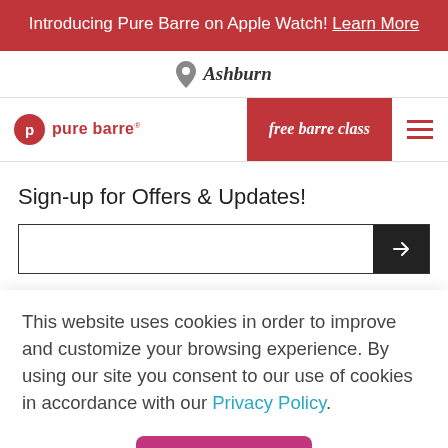Introducing Pure Barre on Apple Watch! Learn More
Ashburn
[Figure (logo): Pure Barre logo with red circle P icon and red text 'pure barre']
free barre class
Sign-up for Offers & Updates!
This website uses cookies in order to improve and customize your browsing experience. By using our site you consent to our use of cookies in accordance with our Privacy Policy.
Accept